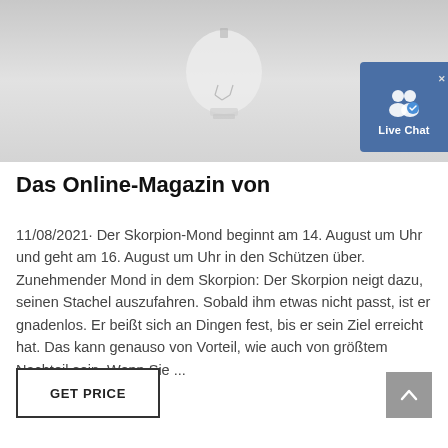[Figure (photo): Photo of a glass light bulb on a light grey background, partially cropped. A Live Chat badge overlay appears in the top-right corner.]
Das Online-Magazin von
11/08/2021· Der Skorpion-Mond beginnt am 14. August um Uhr und geht am 16. August um Uhr in den Schützen über. Zunehmender Mond in dem Skorpion: Der Skorpion neigt dazu, seinen Stachel auszufahren. Sobald ihm etwas nicht passt, ist er gnadenlos. Er beißt sich an Dingen fest, bis er sein Ziel erreicht hat. Das kann genauso von Vorteil, wie auch von größtem Nachteil sein. Wenn Sie ...
GET PRICE